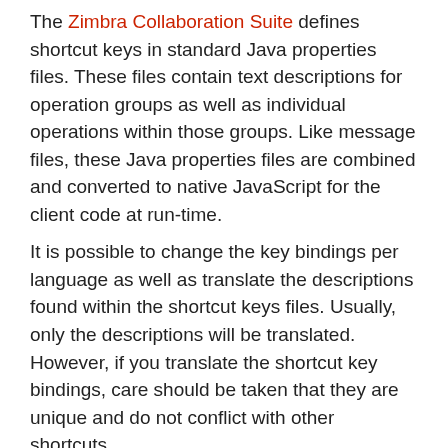The Zimbra Collaboration Suite defines shortcut keys in standard Java properties files. These files contain text descriptions for operation groups as well as individual operations within those groups. Like message files, these Java properties files are combined and converted to native JavaScript for the client code at run-time.
It is possible to change the key bindings per language as well as translate the descriptions found within the shortcut keys files. Usually, only the descriptions will be translated. However, if you translate the shortcut key bindings, care should be taken that they are unique and do not conflict with other shortcuts.
AjxKeys.properties
Shortcut keys used in the ajax toolkit.
ZmKeys.properties
Shortcut keys used in the Zimbra End User web client.